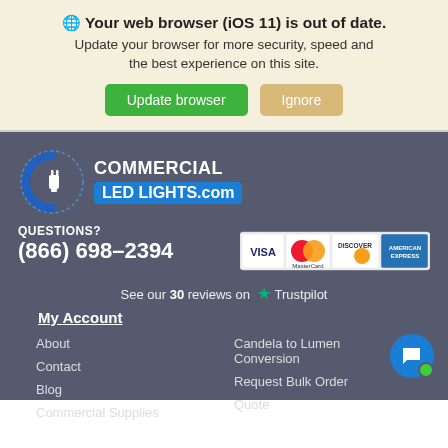🌐 Your web browser (iOS 11) is out of date. Update your browser for more security, speed and the best experience on this site.
Update browser | Ignore
[Figure (logo): CommercialLEDLights.com logo with circular blue C and plug icon]
QUESTIONS? (866) 698-2394
[Figure (other): Payment icons: VISA, MasterCard, Discover, American Express]
See our 30 reviews on ★ Trustpilot
My Account
About
Contact
Blog
Commercial Supplies
Candela to Lumen Conversion
Request Bulk Order Quote